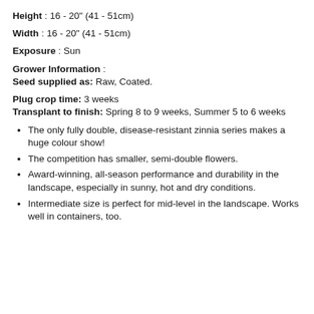Height : 16 - 20" (41 - 51cm)
Width : 16 - 20" (41 - 51cm)
Exposure : Sun
Grower Information :
Seed supplied as: Raw, Coated.
Plug crop time: 3 weeks
Transplant to finish: Spring 8 to 9 weeks, Summer 5 to 6 weeks
The only fully double, disease-resistant zinnia series makes a huge colour show!
The competition has smaller, semi-double flowers.
Award-winning, all-season performance and durability in the landscape, especially in sunny, hot and dry conditions.
Intermediate size is perfect for mid-level in the landscape. Works well in containers, too.